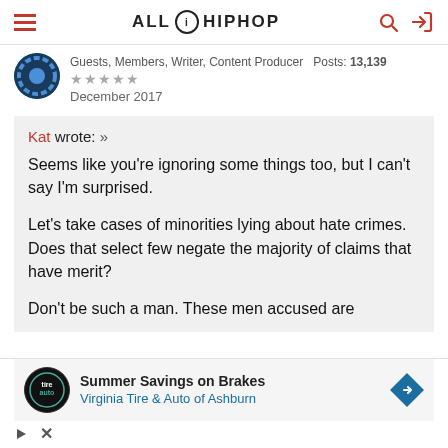AllHipHop
Guests, Members, Writer, Content Producer  Posts: 13,139
★★★★★
December 2017
Kat wrote: »
Seems like you're ignoring some things too, but I can't say I'm surprised.

Let's take cases of minorities lying about hate crimes. Does that select few negate the majority of claims that have merit?

Don't be such a man. These men accused are
[Figure (other): Advertisement banner for Virginia Tire & Auto of Ashburn - Summer Savings on Brakes]